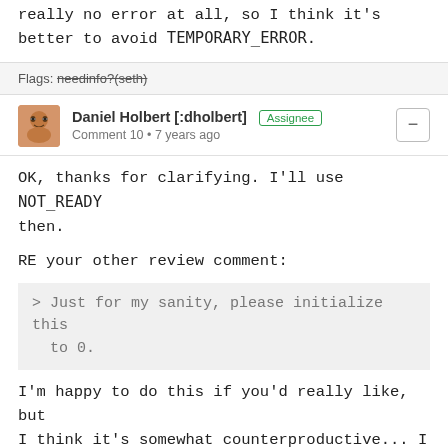really no error at all, so I think it's better to avoid TEMPORARY_ERROR.
Flags: needinfo?(seth)
Daniel Holbert [:dholbert] Assignee
Comment 10 • 7 years ago
OK, thanks for clarifying. I'll use NOT_READY then.

RE your other review comment:
> Just for my sanity, please initialize this to 0.

I'm happy to do this if you'd really like, but I think it's somewhat counterproductive... I assume you're worried about cases where GetImageStatus() forgets to initialize the variable, and the variable gets used without being initialized. But that's something that